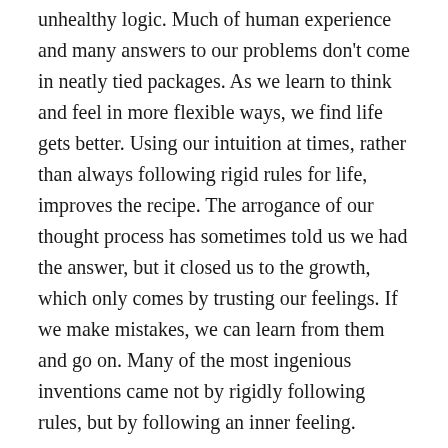unhealthy logic. Much of human experience and many answers to our problems don't come in neatly tied packages. As we learn to think and feel in more flexible ways, we find life gets better. Using our intuition at times, rather than always following rigid rules for life, improves the recipe. The arrogance of our thought process has sometimes told us we had the answer, but it closed us to the growth, which only comes by trusting our feelings. If we make mistakes, we can learn from them and go on. Many of the most ingenious inventions came not by rigidly following rules, but by following an inner feeling.
Today, I will be open to more possibilities in my thinking.